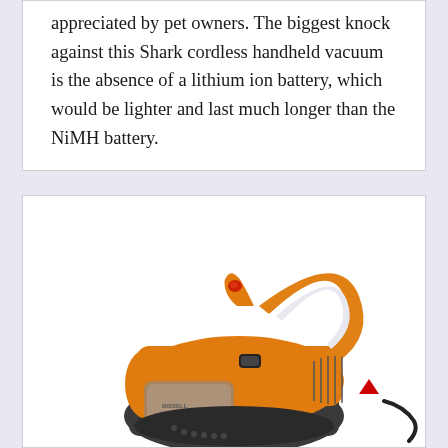appreciated by pet owners. The biggest knock against this Shark cordless handheld vacuum is the absence of a lithium ion battery, which would be lighter and last much longer than the NiMH battery.
[Figure (photo): Photo of an orange and black handheld vacuum cleaner (Bissell brand) with a curved handle, transparent dust cup, and power cord visible on a white background.]